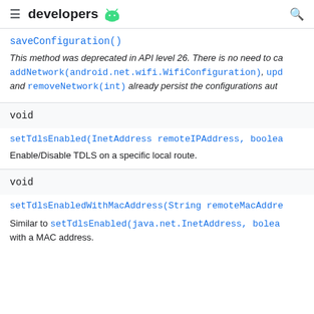developers
saveConfiguration()
This method was deprecated in API level 26. There is no need to ca addNetwork(android.net.wifi.WifiConfiguration), upd and removeNetwork(int) already persist the configurations aut
void
setTdlsEnabled(InetAddress remoteIPAddress, boolea
Enable/Disable TDLS on a specific local route.
void
setTdlsEnabledWithMacAddress(String remoteMacAddre
Similar to setTdlsEnabled(java.net.InetAddress, bolea with a MAC address.